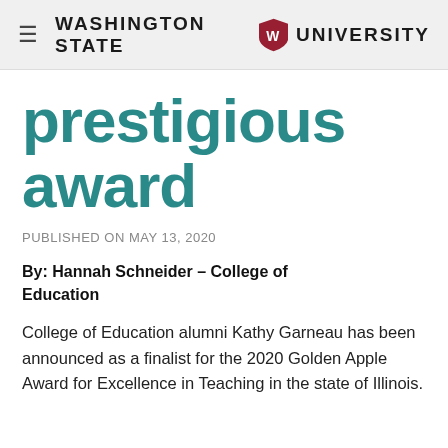Washington State University
prestigious award
PUBLISHED ON MAY 13, 2020
By: Hannah Schneider – College of Education
College of Education alumni Kathy Garneau has been announced as a finalist for the 2020 Golden Apple Award for Excellence in Teaching in the state of Illinois.